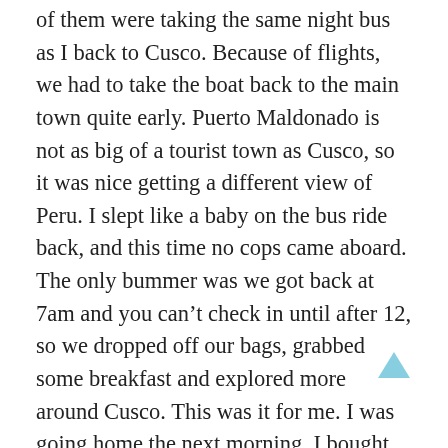of them were taking the same night bus as I back to Cusco. Because of flights, we had to take the boat back to the main town quite early. Puerto Maldonado is not as big of a tourist town as Cusco, so it was nice getting a different view of Peru. I slept like a baby on the bus ride back, and this time no cops came aboard. The only bummer was we got back at 7am and you can't check in until after 12, so we dropped off our bags, grabbed some breakfast and explored more around Cusco. This was it for me. I was going home the next morning. I bought any last minute trinkets and headed back to my room. I took a much needed shower and nap. Even though I slept on the bus, there is nothing like sleeping on a non-moving bed. I grabbed one last meal and hung out at the bar in my hostel one last time. I had an excellent